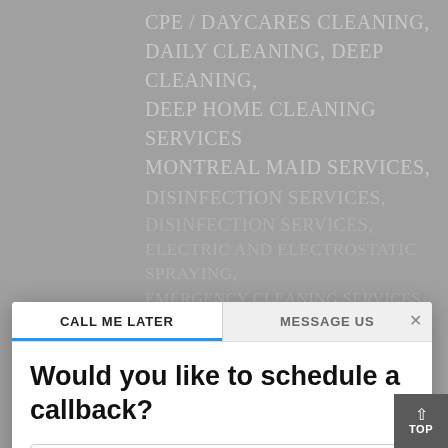CPE / DAYCARES CLEANING,
DAILY CLEANING, DEEP CLEANING,
DEEP HOME CLEANING SERVICES
MONTREAL MAID SERVICES,
DISINFECTION SERVICES,
DISINFECTION SERVICES,
ELECTRIC AND ELECTROSTATIC
SPRAYING,
EMERGENCY CLEANING SERVICES,
[Figure (screenshot): A modal dialog overlay on a website. The modal has two tabs: 'CALL ME LATER' (active, with blue underline) and 'MESSAGE US', with an X close button. The modal title reads 'Would you like to schedule a callback?' Below are form fields: an Email field with envelope icon, a phone number field with Canadian flag (+1) and placeholder '204-234-5678' with a clear button, and a date/time row showing 'Mon, Aug 22' and '13:00' dropdowns.]
CALL ME LATER
MESSAGE US
Would you like to schedule a callback?
Email
+1  204-234-5678
Mon, Aug 22  13:00
[Figure (screenshot): TOP scroll button in bottom-right corner, dark grey background with up arrow and 'TOP' text]